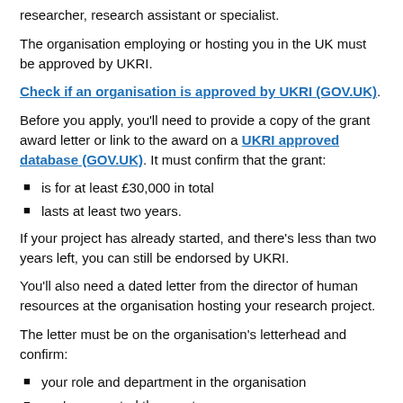researcher, research assistant or specialist.
The organisation employing or hosting you in the UK must be approved by UKRI.
Check if an organisation is approved by UKRI (GOV.UK).
Before you apply, you'll need to provide a copy of the grant award letter or link to the award on a UKRI approved database (GOV.UK). It must confirm that the grant:
is for at least £30,000 in total
lasts at least two years.
If your project has already started, and there's less than two years left, you can still be endorsed by UKRI.
You'll also need a dated letter from the director of human resources at the organisation hosting your research project.
The letter must be on the organisation's letterhead and confirm:
your role and department in the organisation
you've accepted the grant